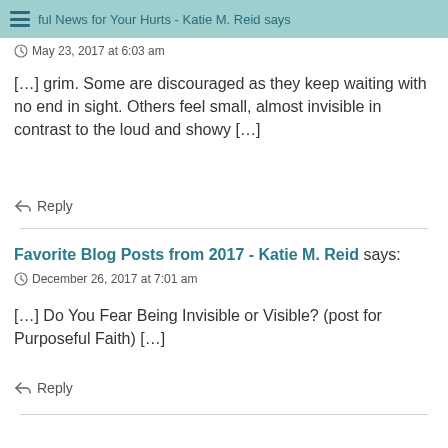Helpful News for Your Hurts - Katie M. Reid says
May 23, 2017 at 6:03 am
[…] grim. Some are discouraged as they keep waiting with no end in sight. Others feel small, almost invisible in contrast to the loud and showy […]
Reply
Favorite Blog Posts from 2017 - Katie M. Reid says:
December 26, 2017 at 7:01 am
[…] Do You Fear Being Invisible or Visible? (post for Purposeful Faith) […]
Reply